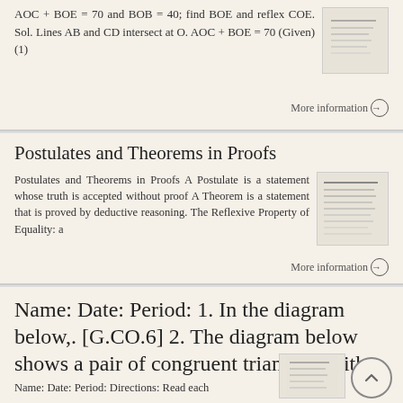AOC + BOE = 70 and BOB = 40; find BOE and reflex COE. Sol. Lines AB and CD intersect at O. AOC + BOE = 70 (Given) (1)
More information →
Postulates and Theorems in Proofs
Postulates and Theorems in Proofs A Postulate is a statement whose truth is accepted without proof A Theorem is a statement that is proved by deductive reasoning. The Reflexive Property of Equality: a
More information →
Name: Date: Period: 1. In the diagram below,. [G.CO.6] 2. The diagram below shows a pair of congruent triangles, with
Name: Date: Period: Directions: Read each